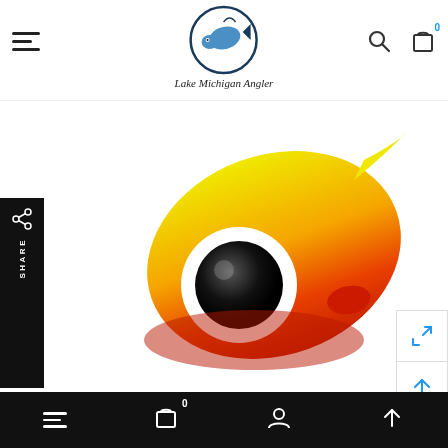[Figure (logo): Lake Michigan Angler logo — circular badge with fish illustration and text below reading 'Lake Michigan Angler']
[Figure (photo): Close-up photo of a Custom Jigs And Spins Chekai Tungsten Jig — teardrop-shaped jig colored yellow to orange-red gradient with a white and black eye detail and small red hook keeper]
Custom Jigs And Spins Chekai Tungsten Jigs
$2.49